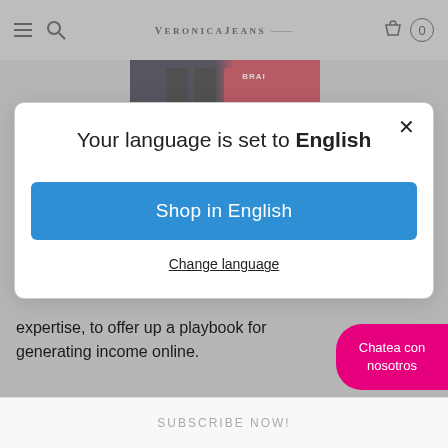VERONICAJEANS
[Figure (screenshot): Product image partially visible behind modal, showing dark navy and red colored items]
Your language is set to English
Shop in English
Change language
expertise, to offer up a playbook for generating income online.
Chatea con nosotros
SUBSCRIBE NOW!